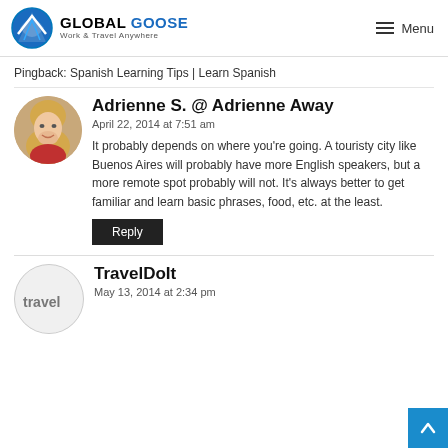GLOBAL GOOSE Work & Travel Anywhere — Menu
Pingback: Spanish Learning Tips | Learn Spanish
Adrienne S. @ Adrienne Away
April 22, 2014 at 7:51 am
It probably depends on where you're going. A touristy city like Buenos Aires will probably have more English speakers, but a more remote spot probably will not. It's always better to get familiar and learn basic phrases, food, etc. at the least.
Reply
TravelDoIt
May 13, 2014 at 2:34 pm